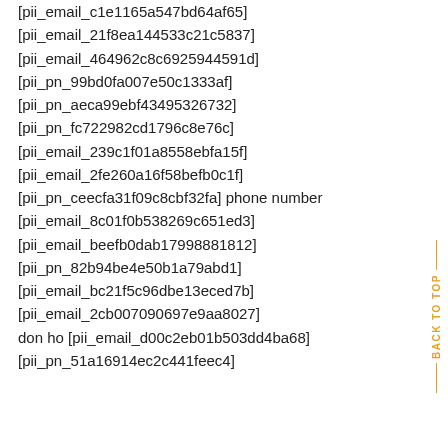[pii_email_c1e1165a547bd64af65]
[pii_email_21f8ea144533c21c5837]
[pii_email_464962c8c6925944591d]
[pii_pn_99bd0fa007e50c1333af]
[pii_pn_aeca99ebf43495326732]
[pii_pn_fc722982cd1796c8e76c]
[pii_email_239c1f01a8558ebfa15f]
[pii_email_2fe260a16f58befb0c1f]
[pii_pn_ceecfa31f09c8cbf32fa] phone number
[pii_email_8c01f0b538269c651ed3]
[pii_email_beefb0dab17998881812]
[pii_pn_82b94be4e50b1a79abd1]
[pii_email_bc21f5c96dbe13eced7b]
[pii_email_2cb007090697e9aa8027]
don ho [pii_email_d00c2eb01b503dd4ba68]
[pii_pn_51a16914ec2c441feec4]